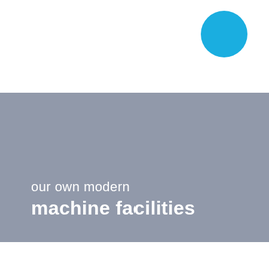[Figure (illustration): Blue circle logo/decorative element in upper right area on white background]
our own modern machine facilities